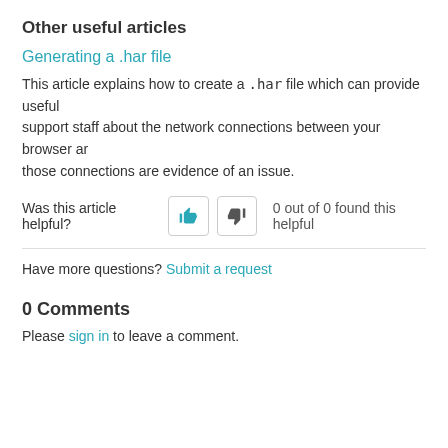Other useful articles
Generating a .har file
This article explains how to create a .har file which can provide useful support staff about the network connections between your browser ar those connections are evidence of an issue.
Was this article helpful? 0 out of 0 found this helpful
Have more questions? Submit a request
0 Comments
Please sign in to leave a comment.